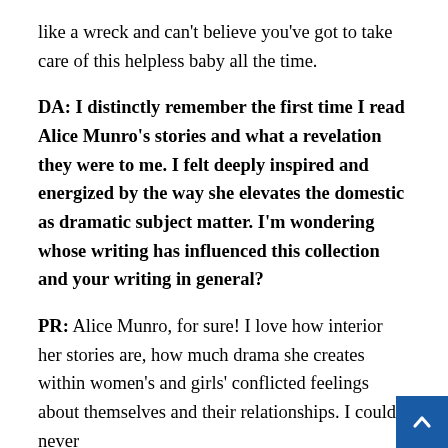like a wreck and can't believe you've got to take care of this helpless baby all the time.
DA: I distinctly remember the first time I read Alice Munro's stories and what a revelation they were to me. I felt deeply inspired and energized by the way she elevates the domestic as dramatic subject matter. I'm wondering whose writing has influenced this collection and your writing in general?
PR: Alice Munro, for sure! I love how interior her stories are, how much drama she creates within women's and girls' conflicted feelings about themselves and their relationships. I could never